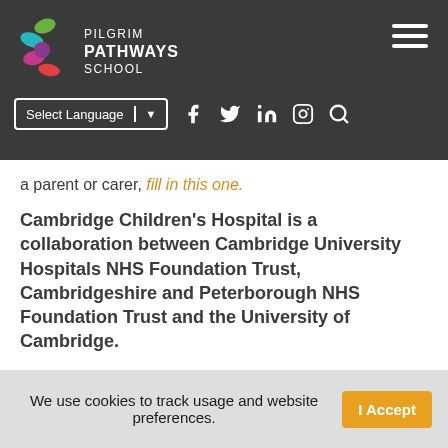[Figure (logo): Pilgrim Pathways School logo with colorful leaf/bean shapes and text PILGRIM PATHWAYS SCHOOL]
PILGRIM PATHWAYS SCHOOL — navigation bar with Select Language dropdown, social icons (Facebook, Twitter, LinkedIn, Instagram, Search), and hamburger menu
a parent or carer, fill in this one.
Cambridge Children's Hospital is a collaboration between Cambridge University Hospitals NHS Foundation Trust, Cambridgeshire and Peterborough NHS Foundation Trust and the University of Cambridge.
We use cookies to track usage and website preferences. I Accept